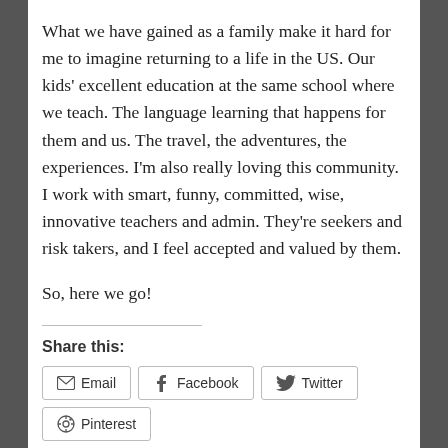What we have gained as a family make it hard for me to imagine returning to a life in the US. Our kids' excellent education at the same school where we teach. The language learning that happens for them and us. The travel, the adventures, the experiences. I'm also really loving this community. I work with smart, funny, committed, wise, innovative teachers and admin. They're seekers and risk takers, and I feel accepted and valued by them.
So, here we go!
Share this:
Email
Facebook
Twitter
Pinterest
Tumblr
Reddit
Pocket
Like this: